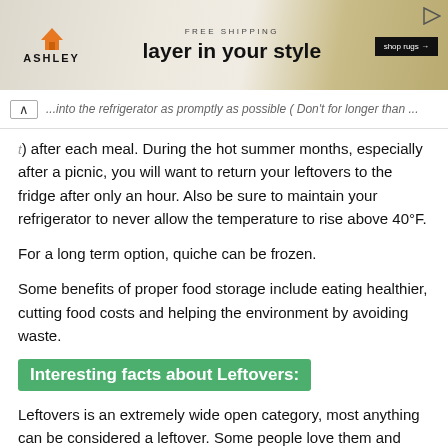[Figure (other): Ashley furniture advertisement banner with orange house logo, 'FREE SHIPPING' text, tagline 'layer in your style', 'shop rugs →' button, and a patterned rug background]
...into the refrigerator as promptly as possible (Don't for longer than ...) after each meal. During the hot summer months, especially after a picnic, you will want to return your leftovers to the fridge after only an hour. Also be sure to maintain your refrigerator to never allow the temperature to rise above 40°F.
For a long term option, quiche can be frozen.
Some benefits of proper food storage include eating healthier, cutting food costs and helping the environment by avoiding waste.
Interesting facts about Leftovers:
Leftovers is an extremely wide open category, most anything can be considered a leftover. Some people love them and think that many dishes have even more flavor the next day when re-heated, and others just want to throw out whatever is left from a meal. We, of course, do not want to waste anything so are of the first category and think that leftovers are fantastic! Either re-heated or turned often into a brand new dish, we never throw leftovers away until they reach their eat-by date.